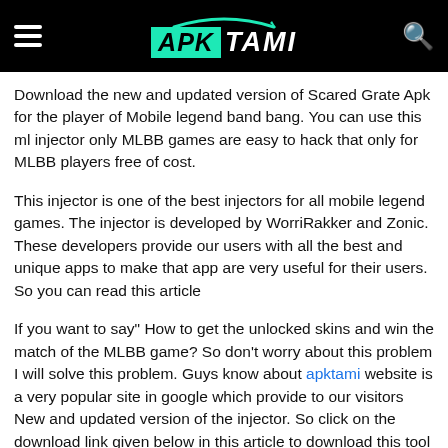APK TAMI
Download the new and updated version of Scared Grate Apk for the player of Mobile legend band bang. You can use this ml injector only MLBB games are easy to hack that only for MLBB players free of cost.
This injector is one of the best injectors for all mobile legend games. The injector is developed by WorriRakker and Zonic. These developers provide our users with all the best and unique apps to make that app are very useful for their users. So you can read this article
If you want to say" How to get the unlocked skins and win the match of the MLBB game? So don't worry about this problem I will solve this problem. Guys know about apktami website is a very popular site in google which provide to our visitors New and updated version of the injector. So click on the download link given below in this article to download this tool skin injector .you all problems easier to solve this injector.